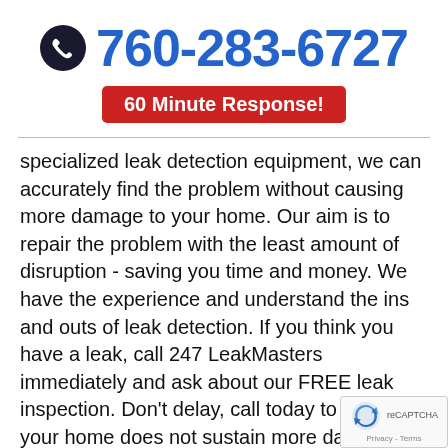[Figure (other): Phone call icon (dark circle with white handset) next to large blue phone number 760-283-6727]
760-283-6727
60 Minute Response!
specialized leak detection equipment, we can accurately find the problem without causing more damage to your home. Our aim is to repair the problem with the least amount of disruption - saving you time and money. We have the experience and understand the ins and outs of leak detection. If you think you have a leak, call 247 LeakMasters immediately and ask about our FREE leak inspection. Don't delay, call today to ensure your home does not sustain more damage. 247 LeakMasters has been proudly serving customers in Ridgecrest Estates for over 20 years. Give us a call today and we will send one of our highly trained plumbers to you within the
[Figure (logo): reCAPTCHA logo and Privacy - Terms overlay in bottom right corner]